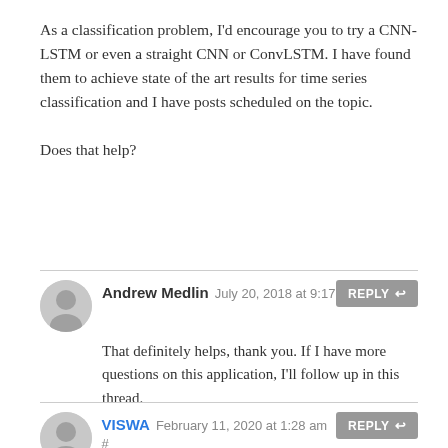As a classification problem, I'd encourage you to try a CNN-LSTM or even a straight CNN or ConvLSTM. I have found them to achieve state of the art results for time series classification and I have posts scheduled on the topic.

Does that help?
Andrew Medlin July 20, 2018 at 9:17 — That definitely helps, thank you. If I have more questions on this application, I'll follow up in this thread.
VISWA February 11, 2020 at 1:28 am # — @jason. I am also working on a similar Sequence Prediction problem as the ECG. But my